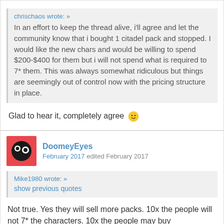chrischaos wrote: »
In an effort to keep the thread alive, i'll agree and let the community know that i bought 1 citadel pack and stopped. I would like the new chars and would be willing to spend $200-$400 for them but i will not spend what is required to 7* them. This was always somewhat ridiculous but things are seemingly out of control now with the pricing structure in place.
Glad to hear it, completely agree 🙂
DoomeyEyes
February 2017 edited February 2017
Mike1980 wrote: »
show previous quotes
Not true. Yes they will sell more packs. 10x the people will not 7* the characters. 10x the people may buy